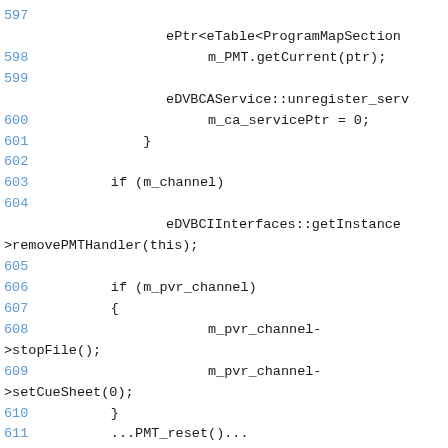[Figure (screenshot): Source code viewer showing lines 597-611 of a C++ file. Line numbers in blue on the left, code in monospace dark text. Code shows PMT handling, DVB CA service unregistration, channel checks, and PVR channel operations.]